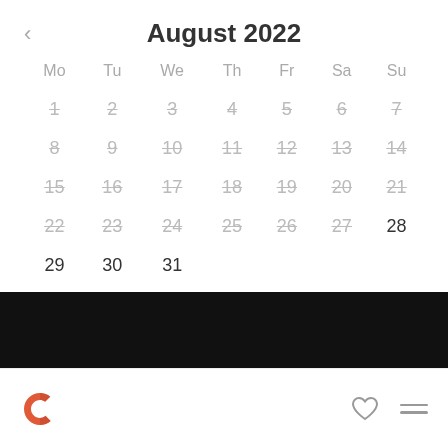August 2022
| Mo | Tu | We | Th | Fr | Sa | Su |
| --- | --- | --- | --- | --- | --- | --- |
| 1 | 2 | 3 | 4 | 5 | 6 | 7 |
| 8 | 9 | 10 | 11 | 12 | 13 | 14 |
| 15 | 16 | 17 | 18 | 19 | 20 | 21 |
| 22 | 23 | 24 | 25 | 26 | 27 | 28 |
| 29 | 30 | 31 |  |  |  |  |
[Figure (other): Black navigation bar]
[Figure (logo): App logo C icon in orange/red and bottom navigation bar with heart and menu icons]